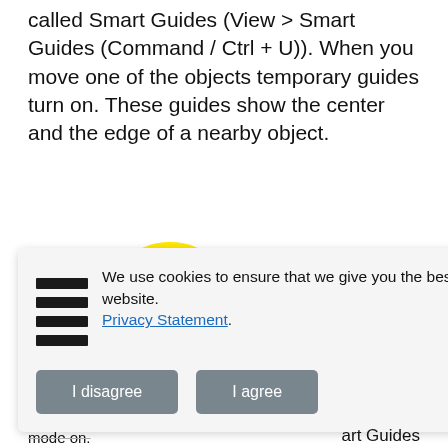called Smart Guides (View > Smart Guides (Command / Ctrl + U)). When you move one of the objects temporary guides turn on. These guides show the center and the edge of a nearby object.
[Figure (screenshot): Screenshot showing a yellow circle on the left and a rectangle on the right with a green horizontal guide line connecting them, and a red arrow cursor inside the rectangle, with a vertical red line below the rectangle.]
[Figure (screenshot): Cookie consent overlay dialog with lines icon, text 'We use cookies to ensure that we give you the best experience on our website. Privacy Statement.' and two buttons: 'I disagree' and 'I agree'.]
art Guides mode on.